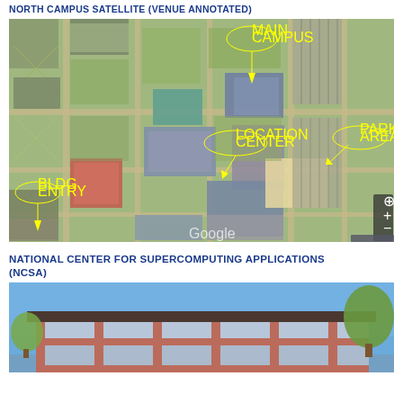NORTH CAMPUS SATELLITE (VENUE ANNOTATED)
[Figure (map): Aerial/satellite view of North Campus with yellow annotated circles marking venues including parking areas, and arrows pointing to specific buildings.]
NATIONAL CENTER FOR SUPERCOMPUTING APPLICATIONS (NCSA)
[Figure (photo): Exterior photo of NCSA building, a brick multi-story structure with large windows under a blue sky with trees.]